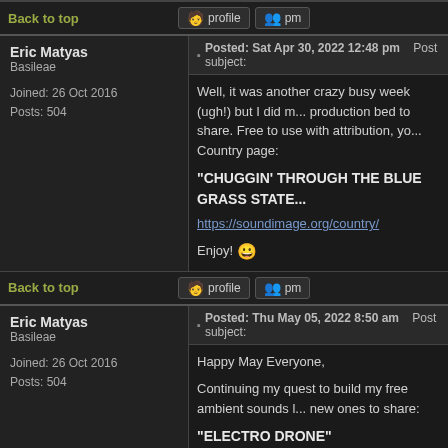Enjoy, stay safe and keep being creative! 😀
Back to top
[Figure (other): Profile and PM buttons]
Eric Matyas
Basileae
Joined: 26 Oct 2016
Posts: 504
Posted: Sat Apr 30, 2022 12:48 pm    Post subject:
Well, it was another crazy busy week (ugh!) but I did m... production bed to share. Free to use with attribution, yo... Country page:
"CHUGGIN' THROUGH THE BLUE GRASS STATE..."
https://soundimage.org/country/
Enjoy! 😀
Back to top
[Figure (other): Profile and PM buttons]
Eric Matyas
Basileae
Joined: 26 Oct 2016
Posts: 504
Posted: Thu May 05, 2022 8:50 am    Post subject:
Happy May Everyone,
Continuing my quest to build my free ambient sounds l... new ones to share:
"ELECTRO DRONE"